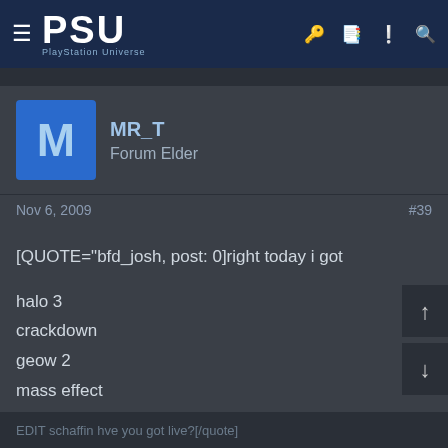PSU PlayStation Universe
MR_T
Forum Elder
Nov 6, 2009   #39
[QUOTE="bfd_josh, post: 0]right today i got

halo 3
crackdown
geow 2
mass effect
lost odyssey
fable 2

😊, just installing them all now so my 36... like em
[Figure (screenshot): Super Mario 3D All-Stars promotional ad overlay with text: SUPER MARIO 3D ALL-STARS' LIMITED AVAILABILITY PAID OFF ACCORDING TO SALES]
EDIT schaffin hve you got live?[/quote]